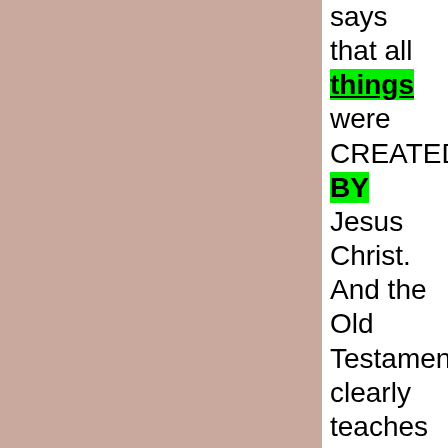[Figure (other): Large mauve/dusty rose colored rectangular panel occupying the left ~72% of the page]
says that all things were CREATED BY Jesus Christ. And the Old Testament clearly teaches us that Yahweh is the CREATOR.